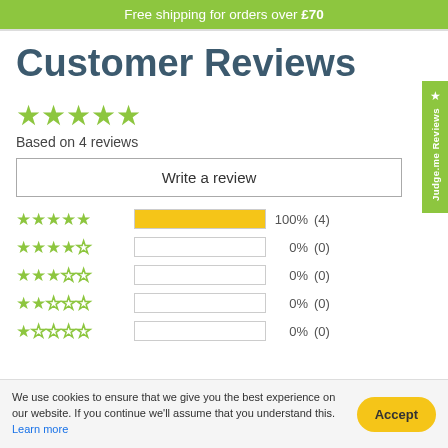Free shipping for orders over £70
Customer Reviews
Based on 4 reviews
Write a review
[Figure (bar-chart): Rating Breakdown]
We use cookies to ensure that we give you the best experience on our website. If you continue we'll assume that you understand this. Learn more
Accept